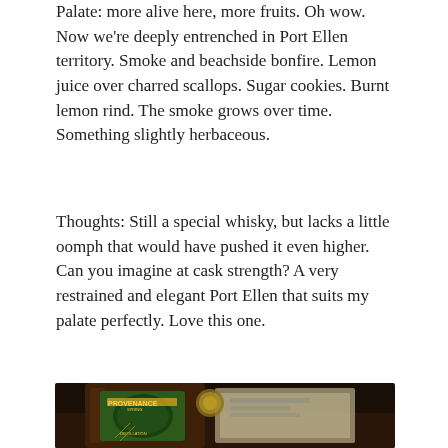Palate: more alive here, more fruits. Oh wow. Now we're deeply entrenched in Port Ellen territory. Smoke and beachside bonfire. Lemon juice over charred scallops. Sugar cookies. Burnt lemon rind. The smoke grows over time. Something slightly herbaceous.
Thoughts: Still a special whisky, but lacks a little oomph that would have pushed it even higher. Can you imagine at cask strength? A very restrained and elegant Port Ellen that suits my palate perfectly. Love this one.
[Figure (photo): Close-up photo of a Port Ellen whisky bottle with green and gold label showing 'Provenance Spring Distillation' text, laying on its side with packaging visible in the background.]